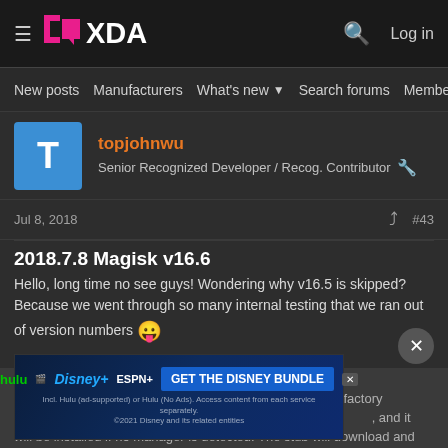XDA Developers — New posts | Manufacturers | What's new | Search forums | Members
topjohnwu
Senior Recognized Developer / Recog. Contributor
Jul 8, 2018  #43
2018.7.8 Magisk v16.6
Hello, long time no see guys! Wondering why v16.5 is skipped? Because we went through so many internal testing that we ran out of version numbers 😛
Full Treble-ish
Magisk relying on... performed factory re... this new version, a... , and it will be installed if no manager is detected. The stub will download and install the full Magisk Manager...
[Figure (screenshot): Disney Bundle advertisement banner showing Hulu, Disney+, and ESPN+ logos with 'GET THE DISNEY BUNDLE' call to action button]